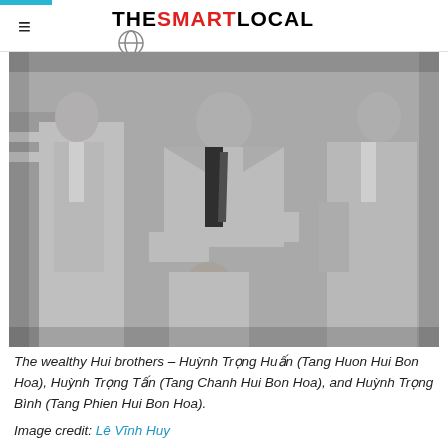THE SMART LOCAL VIETNAM
[Figure (photo): Black and white photograph of three men in suits — the wealthy Hui brothers. One man is seated in a chair in the center, flanked by two standing men.]
The wealthy Hui brothers – Huỳnh Trọng Huấn (Tang Huon Hui Bon Hoa), Huỳnh Trọng Tấn (Tang Chanh Hui Bon Hoa), and Huỳnh Trọng Bình (Tang Phien Hui Bon Hoa).
Image credit: Lê Vĩnh Huy